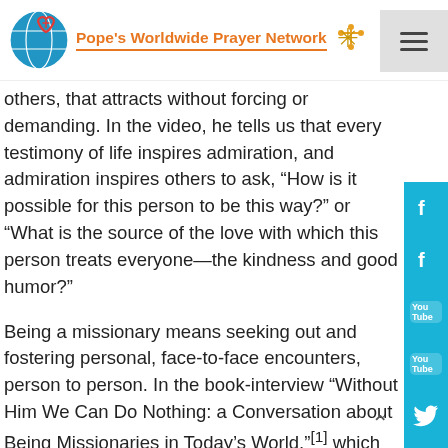Pope's Worldwide Prayer Network
others, that attracts without forcing or demanding. In the video, he tells us that every testimony of life inspires admiration, and admiration inspires others to ask, “How is it possible for this person to be this way?” or “What is the source of the love with which this person treats everyone—the kindness and good humor?”
Being a missionary means seeking out and fostering personal, face-to-face encounters, person to person. In the book-interview “Without Him We Can Do Nothing: a Conversation about Being Missionaries in Today’s World,”[1] which documents a conversation between Pope Francis and Italian journalist Gianni Valente, the Holy Father says clearly that “the Church grows by attraction and by witness.” It’s a matter of living near to Jesus, encountering others: “If you have been attracted